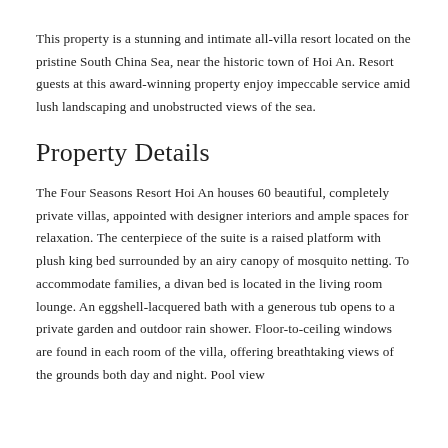This property is a stunning and intimate all-villa resort located on the pristine South China Sea, near the historic town of Hoi An. Resort guests at this award-winning property enjoy impeccable service amid lush landscaping and unobstructed views of the sea.
Property Details
The Four Seasons Resort Hoi An houses 60 beautiful, completely private villas, appointed with designer interiors and ample spaces for relaxation. The centerpiece of the suite is a raised platform with plush king bed surrounded by an airy canopy of mosquito netting. To accommodate families, a divan bed is located in the living room lounge. An eggshell-lacquered bath with a generous tub opens to a private garden and outdoor rain shower. Floor-to-ceiling windows are found in each room of the villa, offering breathtaking views of the grounds both day and night. Pool view